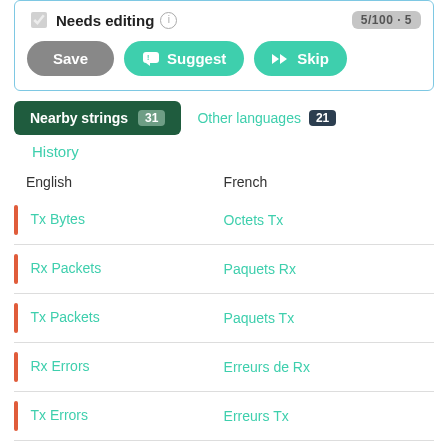[Figure (screenshot): UI panel with 'Needs editing' checkbox, info icon, counter badge '5/100 · 5', and three buttons: Save, Suggest, Skip]
Nearby strings 31
Other languages 21
History
| English | French |
| --- | --- |
| Tx Bytes | Octets Tx |
| Rx Packets | Paquets Rx |
| Tx Packets | Paquets Tx |
| Rx Errors | Erreurs de Rx |
| Tx Errors | Erreurs Tx |